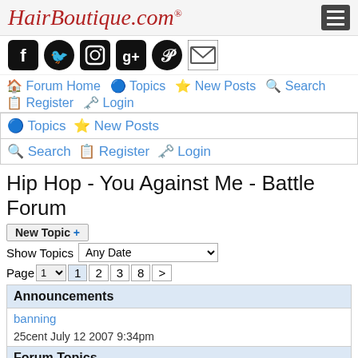HairBoutique.com®
[Figure (screenshot): Social media icons: Facebook, Twitter, Instagram, Google+, Pinterest, Email]
Forum Home  Topics  New Posts  Search  Register  Login
Topics  New Posts
Search  Register  Login
Hip Hop - You Against Me - Battle Forum
New Topic +
Show Topics  Any Date
Page  1  2  3  8  >
| Announcements |
| banning |
| 25cent July 12 2007 9:34pm |
| Forum Topics |
| battling |